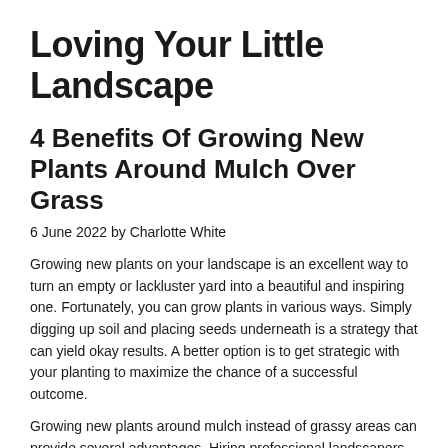Loving Your Little Landscape
4 Benefits Of Growing New Plants Around Mulch Over Grass
6 June 2022 by Charlotte White
Growing new plants on your landscape is an excellent way to turn an empty or lackluster yard into a beautiful and inspiring one. Fortunately, you can grow plants in various ways. Simply digging up soil and placing seeds underneath is a strategy that can yield okay results. A better option is to get strategic with your planting to maximize the chance of a successful outcome.
Growing new plants around mulch instead of grassy areas can provide several advantages. Hiring professional landscapers to work on this project will help you reap all the benefits.
Water